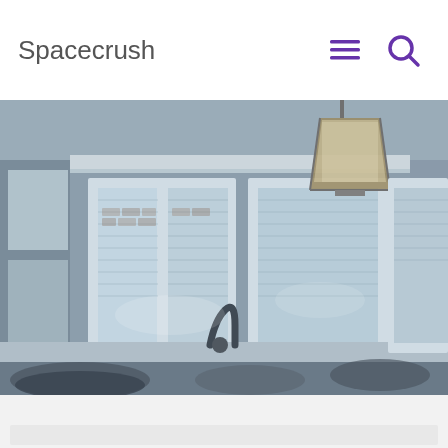Spacecrush
[Figure (photo): Interior kitchen photo showing three large white-framed windows with horizontal blinds, brick exterior visible through windows, pendant light fixture hanging from ceiling upper right, kitchen sink visible at bottom center, gray-toned walls and ceiling.]